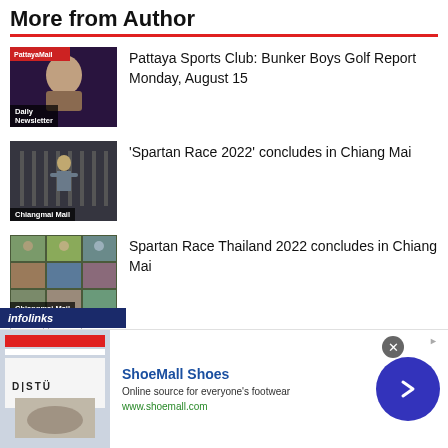More from Author
[Figure (photo): Thumbnail image with man face, Daily Newsletter label overlay]
Pattaya Sports Club: Bunker Boys Golf Report Monday, August 15
[Figure (photo): Chiangmai Mail thumbnail with person climbing obstacle, Chiangmai Mail label overlay]
‘Spartan Race 2022’ concludes in Chiang Mai
[Figure (photo): Chiangmai Mail photo collage thumbnail with Chiangmai Mail label overlay]
Spartan Race Thailand 2022 concludes in Chiang Mai
[Figure (logo): infolinks logo bar]
[Figure (screenshot): ShoeMall Shoes advertisement with image, brand name, description, URL, and arrow button]